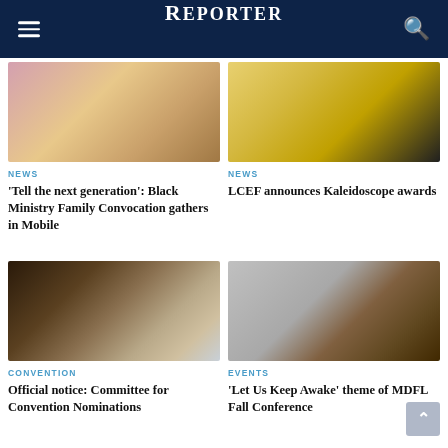REPORTER
[Figure (photo): Blurred photo of people, warm pink and yellow tones]
NEWS
'Tell the next generation': Black Ministry Family Convocation gathers in Mobile
[Figure (photo): Blurred photo of children in colorful setting with yellow tones]
NEWS
LCEF announces Kaleidoscope awards
[Figure (photo): Dark sepia-toned photo with circular object and scattered items]
CONVENTION
Official notice: Committee for Convention Nominations
[Figure (photo): Photo of a person speaking at a conference, grey background with brown dog]
EVENTS
'Let Us Keep Awake' theme of MDFL Fall Conference